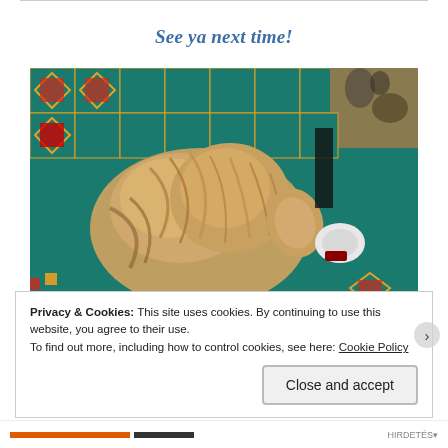See ya next time!
[Figure (photo): A dog (appears to be a Yorkshire Terrier or similar long-haired breed) resting on colorful geometric patterned fabric/blankets in teal, orange, red and gold colors. The dog is photographed from above.]
Privacy & Cookies: This site uses cookies. By continuing to use this website, you agree to their use.
To find out more, including how to control cookies, see here: Cookie Policy
Close and accept